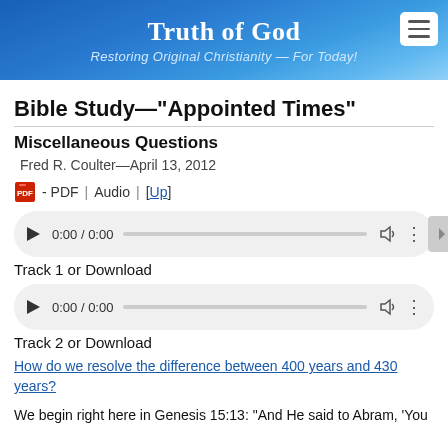Truth of God — Restoring Original Christianity — For Today!
Bible Study—"Appointed Times"
Miscellaneous Questions
Fred R. Coulter—April 13, 2012
- PDF | Audio | [Up]
[Figure (other): Audio player 1 showing 0:00 / 0:00 with play button, progress bar, volume and menu icons]
Track 1 or Download
[Figure (other): Audio player 2 showing 0:00 / 0:00 with play button, progress bar, volume and menu icons]
Track 2 or Download
How do we resolve the difference between 400 years and 430 years?
We begin right here in Genesis 15:13: "And He said to Abram, 'You